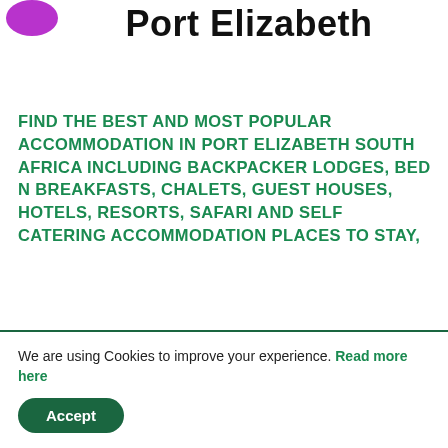[Figure (logo): Purple circle logo partially visible in top-left corner]
Port Elizabeth
FIND THE BEST AND MOST POPULAR ACCOMMODATION IN PORT ELIZABETH SOUTH AFRICA INCLUDING BACKPACKER LODGES, BED N BREAKFASTS, CHALETS, GUEST HOUSES, HOTELS, RESORTS, SAFARI AND SELF CATERING ACCOMMODATION PLACES TO STAY,
We are using Cookies to improve your experience. Read more here
Accept